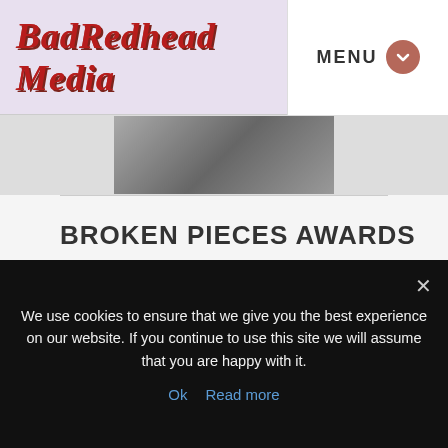BadRedhead Media  MENU
[Figure (photo): Partial photo of a person, grayscale/sepia tone, cropped at top]
BROKEN PIECES AWARDS
[Figure (illustration): Award badge: ebook COVER DESIGN with star, orange/red shield shape]
We use cookies to ensure that we give you the best experience on our website. If you continue to use this site we will assume that you are happy with it.
Ok   Read more